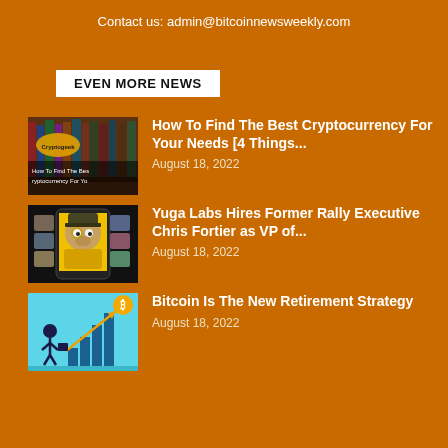Contact us: admin@bitcoinnewsweekly.com
EVEN MORE NEWS
[Figure (photo): Thumbnail image for How To Find The Best Cryptocurrency article, showing bookshelf with Cryptogeek logo]
How To Find The Best Cryptocurrency For Your Needs [4 Things...
August 18, 2022
[Figure (photo): Thumbnail image for Yuga Labs article, showing NFT ape character on phone screen]
Yuga Labs Hires Former Rally Executive Chris Fortier as VP of...
August 18, 2022
[Figure (photo): Thumbnail image for Bitcoin retirement strategy article, showing person with bar chart and bitcoin coin]
Bitcoin Is The New Retirement Strategy
August 18, 2022